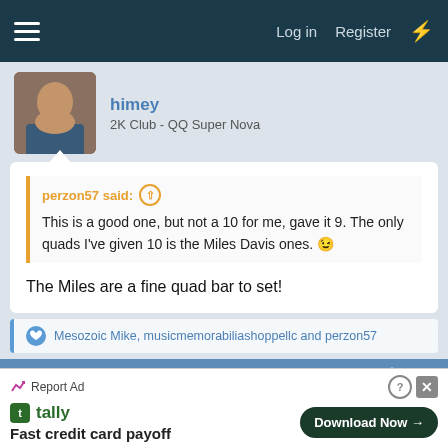Log in  Register
himey
2K Club - QQ Super Nova
perzon57 said:
This is a good one, but not a 10 for me, gave it 9. The only quads I've given 10 is the Miles Davis ones. 😉
The Miles are a fine quad bar to set!
Mesozoic Mike, musicmemorabiliashoppellc and perzon57
Dec 4, 2021  #375
JonUrban
Report Ad
Fast credit card payoff  Download Now